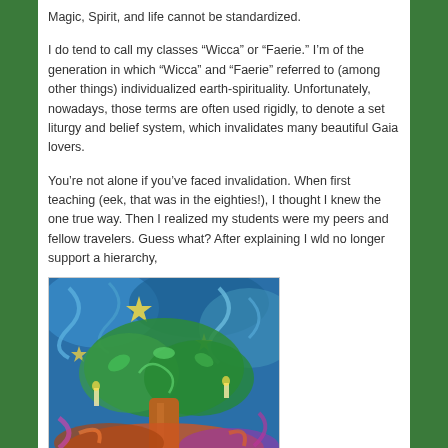Magic, Spirit, and life cannot be standardized.
I do tend to call my classes “Wicca” or “Faerie.” I’m of the generation in which “Wicca” and “Faerie” referred to (among other things) individualized earth-spirituality. Unfortunately, nowadays, those terms are often used rigidly, to denote a set liturgy and belief system, which invalidates many beautiful Gaia lovers.
You’re not alone if you’ve faced invalidation. When first teaching (eek, that was in the eighties!), I thought I knew the one true way. Then I realized my students were my peers and fellow travelers. Guess what? After explaining I wld no longer support a hierarchy,
[Figure (illustration): Colorful swirling artwork depicting a stylized tree with stars, leaves, and swirling cosmic patterns in blues, greens, oranges, and purples — a vibrant earth-spirituality themed illustration.]